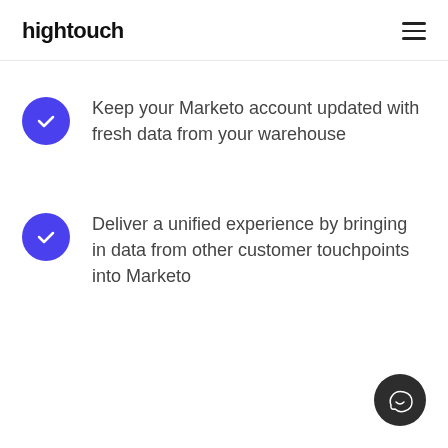hightouch
Keep your Marketo account updated with fresh data from your warehouse
Deliver a unified experience by bringing in data from other customer touchpoints into Marketo